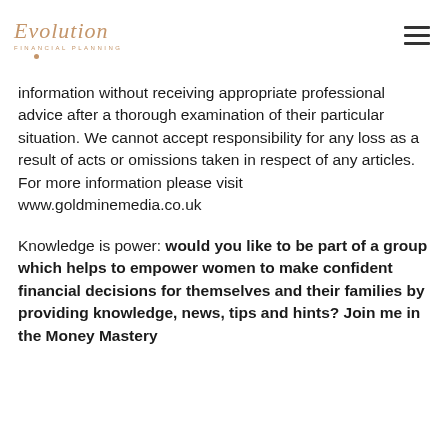Evolution Financial Planning — navigation header with logo and hamburger menu
information without receiving appropriate professional advice after a thorough examination of their particular situation. We cannot accept responsibility for any loss as a result of acts or omissions taken in respect of any articles. For more information please visit www.goldminemedia.co.uk
Knowledge is power: would you like to be part of a group which helps to empower women to make confident financial decisions for themselves and their families by providing knowledge, news, tips and hints? Join me in the Money Mastery